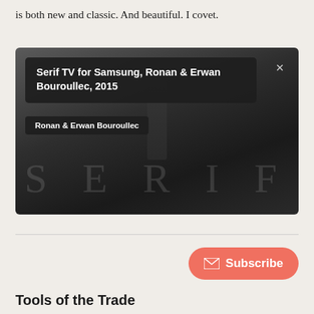is both new and classic. And beautiful. I covet.
[Figure (screenshot): Screenshot of a product detail overlay on a dark image of the Samsung Serif TV. Overlay shows title 'Serif TV for Samsung, Ronan & Erwan Bouroullec, 2015' and author 'Ronan & Erwan Bouroullec'. Background image shows the word SERIF in large light letters against a dark gradient background with a TV stand silhouette.]
Subscribe
Tools of the Trade